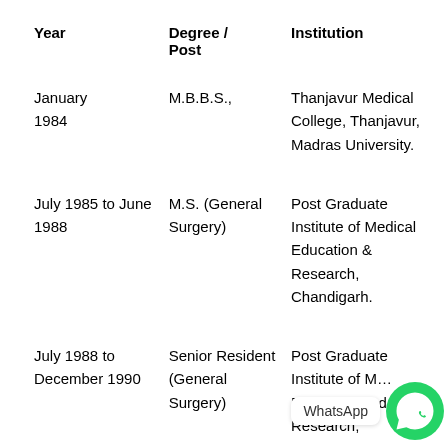| Year | Degree / Post | Institution |
| --- | --- | --- |
| January 1984 | M.B.B.S., | Thanjavur Medical College, Thanjavur, Madras University. |
| July 1985 to June 1988 | M.S. (General Surgery) | Post Graduate Institute of Medical Education & Research, Chandigarh. |
| July 1988 to December 1990 | Senior Resident (General Surgery) | Post Graduate Institute of Medical Education and Research, |